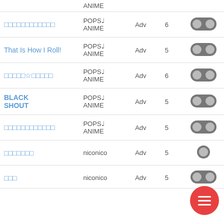| Title | Genre | Diff | Level | Icon |
| --- | --- | --- | --- | --- |
| □□□□□□□□□□□□ | POPS♩ ANIME | Adv | 6 | toggle |
| That Is How I Roll! | POPS♩ ANIME | Adv | 5 | toggle |
| □□□□□☆□□□□□ | POPS♩ ANIME | Adv | 6 | toggle |
| BLACK SHOUT | POPS♩ ANIME | Adv | 5 | toggle |
| □□□□□□□□□□□□ | POPS♩ ANIME | Adv | 5 | toggle |
| □□□□□□□ | niconico | Adv | 5 | toggle |
| □□□ | niconico | Adv | 5 | toggle |